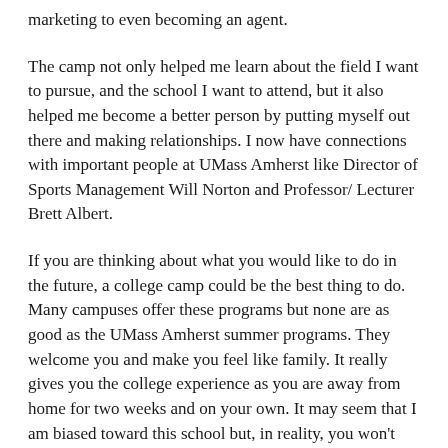marketing to even becoming an agent.
The camp not only helped me learn about the field I want to pursue, and the school I want to attend, but it also helped me become a better person by putting myself out there and making relationships. I now have connections with important people at UMass Amherst like Director of Sports Management Will Norton and Professor/ Lecturer Brett Albert.
If you are thinking about what you would like to do in the future, a college camp could be the best thing to do. Many campuses offer these programs but none are as good as the UMass Amherst summer programs. They welcome you and make you feel like family. It really gives you the college experience as you are away from home for two weeks and on your own. It may seem that I am biased toward this school but, in reality, you won't find a summer program as impactful and comprehensive as the UMass Summer Programs. Everything about my experience could not have been better and I highly